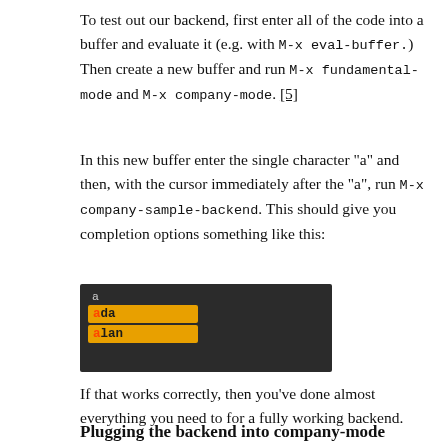To test out our backend, first enter all of the code into a buffer and evaluate it (e.g. with M-x eval-buffer.) Then create a new buffer and run M-x fundamental-mode and M-x company-mode. [5]
In this new buffer enter the single character "a" and then, with the cursor immediately after the "a", run M-x company-sample-backend. This should give you completion options something like this:
[Figure (screenshot): Emacs buffer screenshot showing completion popup with 'a' typed, and two completion candidates: 'ada' and 'alan' highlighted in an orange/yellow dropdown menu on a dark background.]
If that works correctly, then you've done almost everything you need to for a fully working backend.
Plugging the backend into company-mode